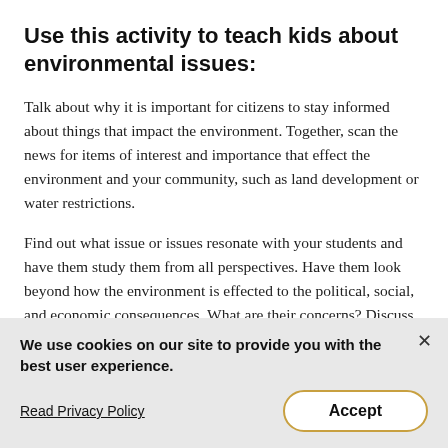Use this activity to teach kids about environmental issues:
Talk about why it is important for citizens to stay informed about things that impact the environment. Together, scan the news for items of interest and importance that effect the environment and your community, such as land development or water restrictions.
Find out what issue or issues resonate with your students and have them study them from all perspectives. Have them look beyond how the environment is effected to the political, social, and economic consequences. What are their concerns? Discuss
We use cookies on our site to provide you with the best user experience.
Read Privacy Policy
Accept